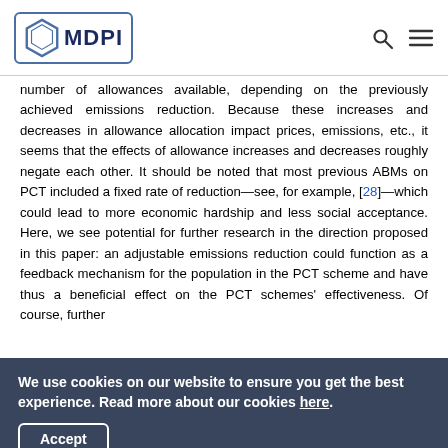MDPI
number of allowances available, depending on the previously achieved emissions reduction. Because these increases and decreases in allowance allocation impact prices, emissions, etc., it seems that the effects of allowance increases and decreases roughly negate each other. It should be noted that most previous ABMs on PCT included a fixed rate of reduction—see, for example, [28]—which could lead to more economic hardship and less social acceptance. Here, we see potential for further research in the direction proposed in this paper: an adjustable emissions reduction could function as a feedback mechanism for the population in the PCT scheme and have thus a beneficial effect on the PCT schemes' effectiveness. Of course, further
We use cookies on our website to ensure you get the best experience. Read more about our cookies here.
Accept